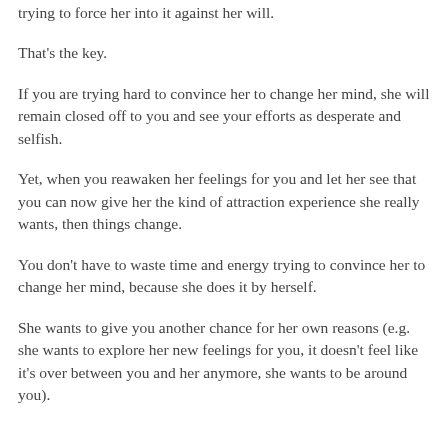trying to force her into it against her will.
That's the key.
If you are trying hard to convince her to change her mind, she will remain closed off to you and see your efforts as desperate and selfish.
Yet, when you reawaken her feelings for you and let her see that you can now give her the kind of attraction experience she really wants, then things change.
You don't have to waste time and energy trying to convince her to change her mind, because she does it by herself.
She wants to give you another chance for her own reasons (e.g. she wants to explore her new feelings for you, it doesn't feel like it's over between you and her anymore, she wants to be around you).